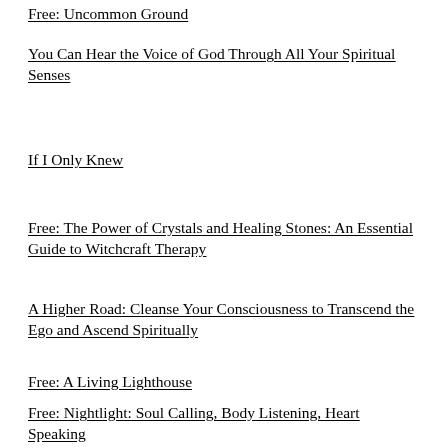Free: Uncommon Ground
You Can Hear the Voice of God Through All Your Spiritual Senses
If I Only Knew
Free: The Power of Crystals and Healing Stones: An Essential Guide to Witchcraft Therapy
A Higher Road: Cleanse Your Consciousness to Transcend the Ego and Ascend Spiritually
Free: A Living Lighthouse
Free: Nightlight: Soul Calling, Body Listening, Heart Speaking